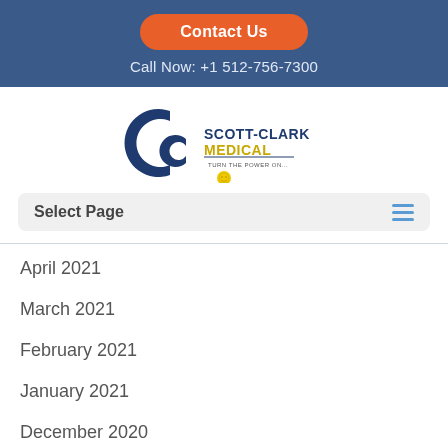Contact Us | Call Now: +1 512-756-7300
[Figure (logo): Scott-Clark Medical logo with CC emblem and tagline 'Turn the Power On...']
Select Page
April 2021
March 2021
February 2021
January 2021
December 2020
November 2020